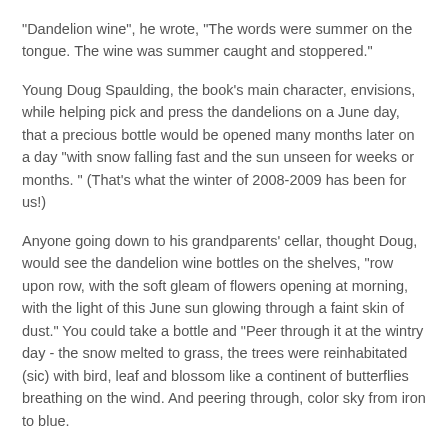"Dandelion wine", he wrote, "The words were summer on the tongue. The wine was summer caught and stoppered."
Young Doug Spaulding, the book's main character, envisions, while helping pick and press the dandelions on a June day, that a precious bottle would be opened many months later on a day "with snow falling fast and the sun unseen for weeks or months. " (That's what the winter of 2008-2009 has been for us!)
Anyone going down to his grandparents' cellar, thought Doug, would see the dandelion wine bottles on the shelves, "row upon row, with the soft gleam of flowers opening at morning, with the light of this June sun glowing through a faint skin of dust." You could take a bottle and "Peer through it at the wintry day - the snow melted to grass, the trees were reinhabitated (sic) with bird, leaf and blossom like a continent of butterflies breathing on the wind. And peering through, color sky from iron to blue.
You could "Hold summer in your hand, pour summer in a